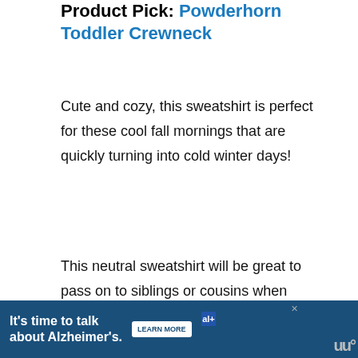Product Pick: Powderhorn Toddler Crewneck
Cute and cozy, this sweatshirt is perfect for these cool fall mornings that are quickly turning into cold winter days!
This neutral sweatshirt will be great to pass on to siblings or cousins when you're little one has grown out of it!
18. Baby Bonito*
First time parents, Carlos and Amanda,
[Figure (other): WHAT'S NEXT panel showing thumbnail and text 'The Best Minnesota...']
[Figure (other): Advertisement banner: It's time to talk about Alzheimer's. LEARN MORE. Alzheimer's Association logo.]